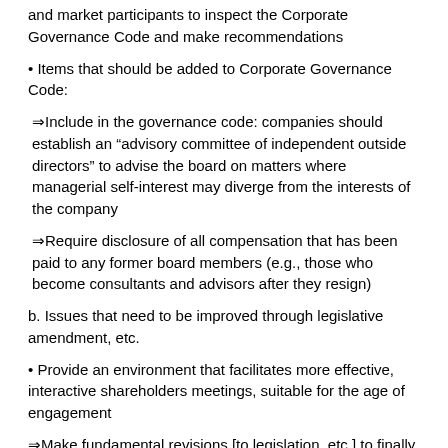and market participants to inspect the Corporate Governance Code and make recommendations
• Items that should be added to Corporate Governance Code:
⇒Include in the governance code: companies should establish an "advisory committee of independent outside directors" to advise the board on matters where managerial self-interest may diverge from the interests of the company
⇒Require disclosure of all compensation that has been paid to any former board members (e.g., those who become consultants and advisors after they resign)
b. Issues that need to be improved through legislative amendment, etc.
• Provide an environment that facilitates more effective, interactive shareholders meetings, suitable for the age of engagement
⇒Make fundamental revisions [to legislation, etc.] to finally resolve the problem that many shareholders meetings are held